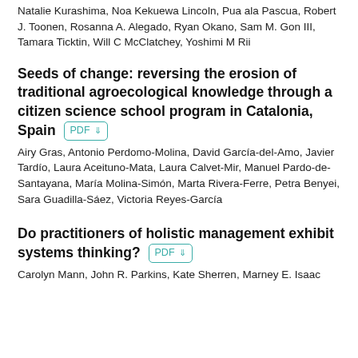Natalie Kurashima, Noa Kekuewa Lincoln, Pua ala Pascua, Robert J. Toonen, Rosanna A. Alegado, Ryan Okano, Sam M. Gon III, Tamara Ticktin, Will C McClatchey, Yoshimi M Rii
Seeds of change: reversing the erosion of traditional agroecological knowledge through a citizen science school program in Catalonia, Spain
Airy Gras, Antonio Perdomo-Molina, David García-del-Amo, Javier Tardío, Laura Aceituno-Mata, Laura Calvet-Mir, Manuel Pardo-de-Santayana, María Molina-Simón, Marta Rivera-Ferre, Petra Benyei, Sara Guadilla-Sáez, Victoria Reyes-García
Do practitioners of holistic management exhibit systems thinking?
Carolyn Mann, John R. Parkins, Kate Sherren, Marney E. Isaac